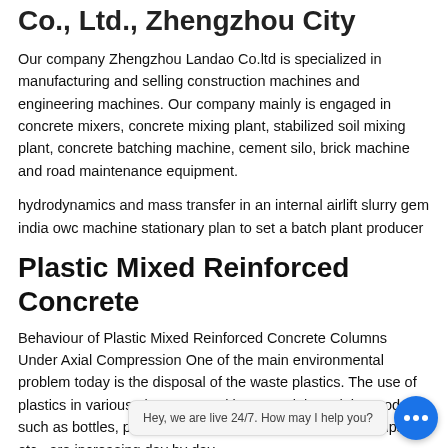Co., Ltd., Zhengzhou City
Our company Zhengzhou Landao Co.ltd is specialized in manufacturing and selling construction machines and engineering machines. Our company mainly is engaged in concrete mixers, concrete mixing plant, stabilized soil mixing plant, concrete batching machine, cement silo, brick machine and road maintenance equipment.
hydrodynamics and mass transfer in an internal airlift slurry gem india owc machine stationary plan to set a batch plant producer
Plastic Mixed Reinforced Concrete
Behaviour of Plastic Mixed Reinforced Concrete Columns Under Axial Compression One of the main environmental problem today is the disposal of the waste plastics. The use of plastics in various places as packing materials and the products such as bottles, polythene sheets, containers, packing strips etc., are increasing day by day.
Fireproofing...
[Figure (screenshot): Live chat widget with message 'Hey, we are live 24/7. How may I help you?' and a blue chat button with three dots]